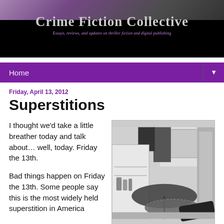Crime Fiction Collective
Essays, reviews, and updates on thriller fiction and digital publishing
Home
Friday, April 13, 2012
Superstitions
I thought we'd take a little breather today and talk about… well, today. Friday the 13th.
Bad things happen on Friday the 13th. Some people say this is the most widely held superstition in America
[Figure (photo): Black and white photo of open umbrellas inside a kitchen/home interior]